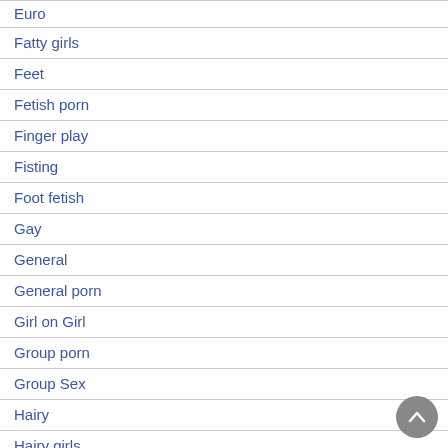Euro
Fatty girls
Feet
Fetish porn
Finger play
Fisting
Foot fetish
Gay
General
General porn
Girl on Girl
Group porn
Group Sex
Hairy
Hairy girls
Handjob